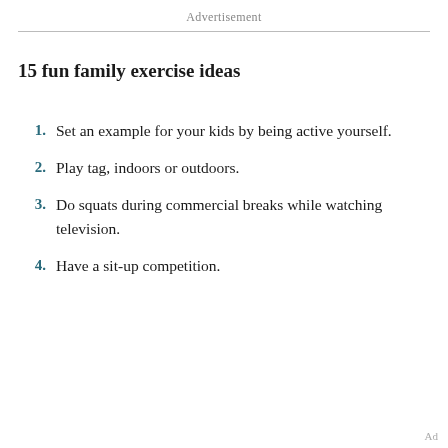Advertisement
15 fun family exercise ideas
Set an example for your kids by being active yourself.
Play tag, indoors or outdoors.
Do squats during commercial breaks while watching television.
Have a sit-up competition.
Ad